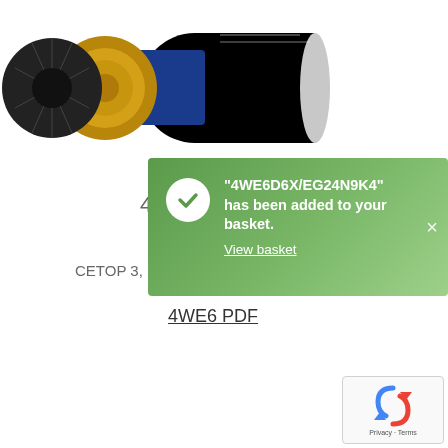[Figure (photo): Partial view of a blue hydraulic solenoid valve (e.g. Rexroth 4WE6 directional control valve) with chrome cylindrical solenoid body and black knurled end cap, partially cropped at top of page.]
4W
CETOP 3,
[Figure (screenshot): Green notification toast/modal overlay showing a white checkmark circle icon on the left, and text: "4WE6D6X/EG24N9K4" has been added to your basket. View basket. With a close (x) button on the right.]
4WE6 PDF
[Figure (logo): Google reCAPTCHA widget in bottom-right corner showing the reCAPTCHA logo (circular arrows) and Privacy - Terms text.]